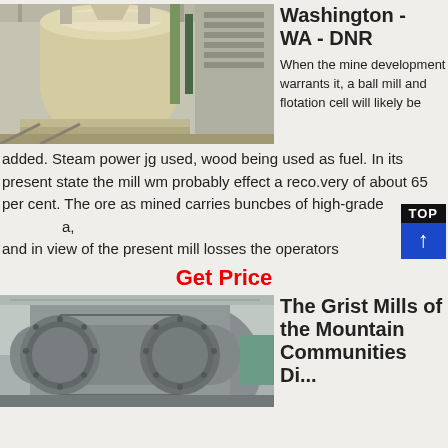[Figure (photo): Industrial ball mill or grinding mill machinery inside a factory building, cream/beige colored cylindrical equipment with pipes and structural steel]
Washington - WA - DNR
When the mine development warrants it, a ball mill and flotation cell will likely be added. Steam power jg used, wood being used as fuel. In its present state the mill wm probably effect a reco.very of about 65 per cent. The ore as mined carries buncbes of high-grade a, and in view of the present mill losses the operators
Get Price
[Figure (photo): Large industrial cylindrical ball mill drum, metallic grey, with bolted flanges, inside a factory]
The Grist Mills of the Mountain Communities Di...